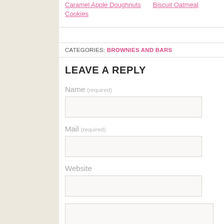Caramel Apple Doughnuts   Biscuit Oatmeal Cookies
CATEGORIES: BROWNIES AND BARS
LEAVE A REPLY
Name (required)
Mail (required)
Website